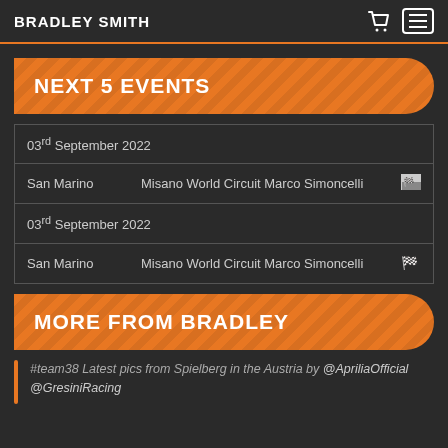BRADLEY SMITH
NEXT 5 EVENTS
| 03rd September 2022 |  |  |
| San Marino | Misano World Circuit Marco Simoncelli | 🏁 |
| 03rd September 2022 |  |  |
| San Marino | Misano World Circuit Marco Simoncelli | 🏁 |
MORE FROM BRADLEY
#team38 Latest pics from Spielberg in the Austria by @ApriliaOfficial @GresiniRacing